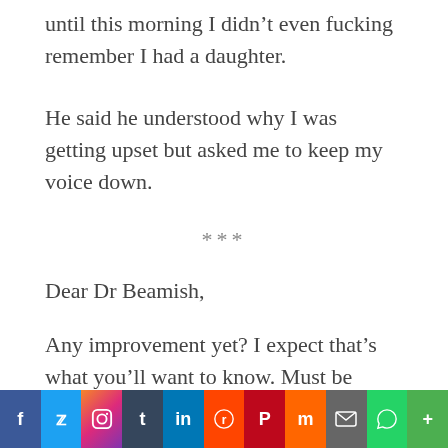until this morning I didn't even fucking remember I had a daughter.
He said he understood why I was getting upset but asked me to keep my voice down.
***
Dear Dr Beamish,
Any improvement yet? I expect that's what you'll want to know. Must be nearly a month now, after all, so I imagine you'll be eager for news. Well